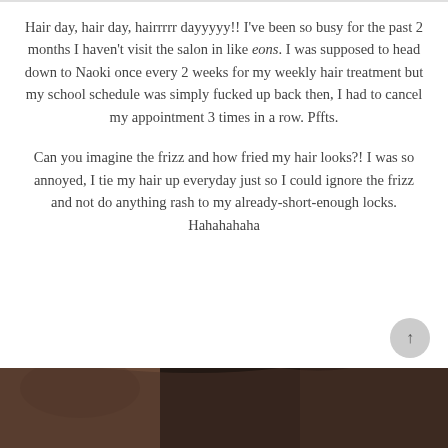Hair day, hair day, hairrrrr dayyyyy!! I've been so busy for the past 2 months I haven't visit the salon in like eons. I was supposed to head down to Naoki once every 2 weeks for my weekly hair treatment but my school schedule was simply fucked up back then, I had to cancel my appointment 3 times in a row. Pffts.
Can you imagine the frizz and how fried my hair looks?! I was so annoyed, I tie my hair up everyday just so I could ignore the frizz and not do anything rash to my already-short-enough locks. Hahahahaha
[Figure (photo): Bottom portion of a photo showing a person with dark hair, partially visible]